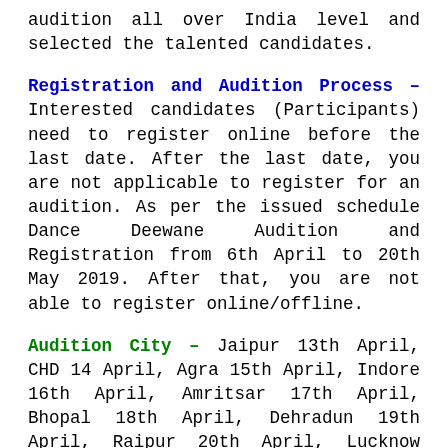audition all over India level and selected the talented candidates.
Registration and Audition Process – Interested candidates (Participants) need to register online before the last date. After the last date, you are not applicable to register for an audition. As per the issued schedule Dance Deewane Audition and Registration from 6th April to 20th May 2019. After that, you are not able to register online/offline.
Audition City – Jaipur 13th April, CHD 14 April, Agra 15th April, Indore 16th April, Amritsar 17th April, Bhopal 18th April, Dehradun 19th April, Raipur 20th April, Lucknow 21st April, Ranchi 22nd April,